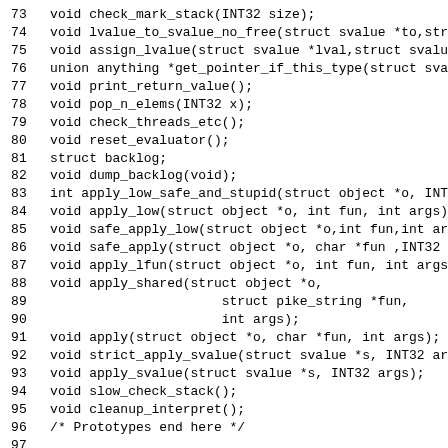Code listing lines 73-99: C function prototypes and extern declarations